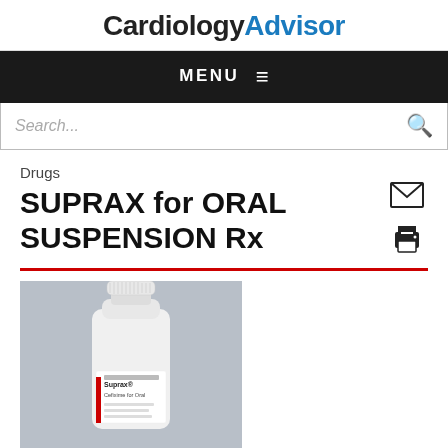Cardiology Advisor
MENU
Search...
Drugs
SUPRAX for ORAL SUSPENSION Rx
[Figure (photo): White pill bottle labeled Suprax Cefixime for Oral Suspension on a gray background]